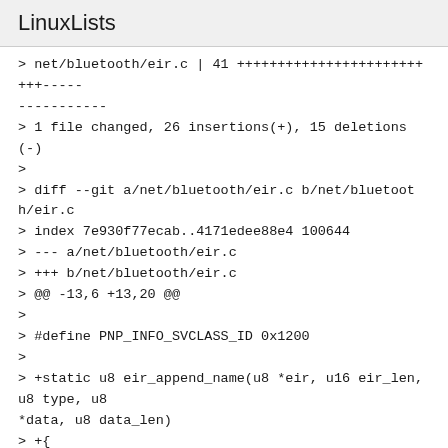LinuxLists
> net/bluetooth/eir.c | 41 ++++++++++++++++++++++++++-----
-----------
> 1 file changed, 26 insertions(+), 15 deletions(-)
>
> diff --git a/net/bluetooth/eir.c b/net/bluetooth/eir.c
> index 7e930f77ecab..4171edee88e4 100644
> --- a/net/bluetooth/eir.c
> +++ b/net/bluetooth/eir.c
> @@ -13,6 +13,20 @@
>
> #define PNP_INFO_SVCLASS_ID 0x1200
>
> +static u8 eir_append_name(u8 *eir, u16 eir_len, u8 type, u8
*data, u8 data_len)
> +{
> + u8 name[HCI_MAX_SHORT_NAME_LENGTH + 1];